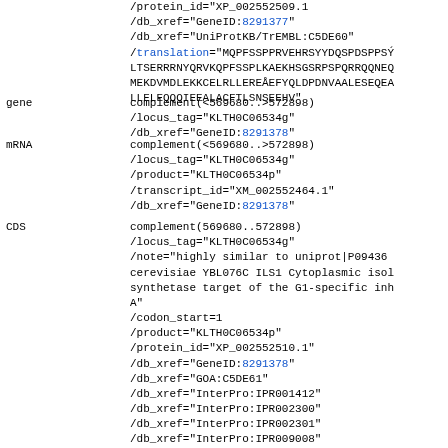GenBank flat file feature table showing gene, mRNA, and CDS annotations for KLTH0C06534g including db_xref, locus_tag, product, transcript_id, protein_id, note, codon_start, and translation fields.